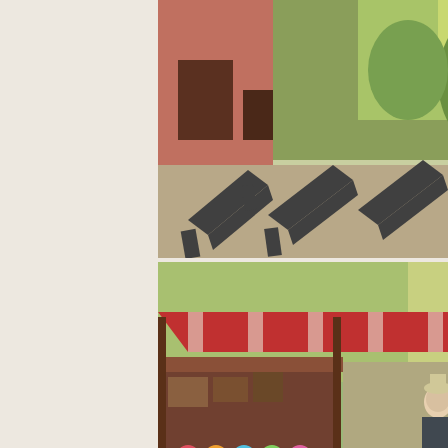[Figure (photo): Outdoor terrace of a provencal house with folding wooden lounge chairs on gravel, pink/red wall on the left, green trees and hedges in background.]
[Figure (photo): Outdoor market scene with red awning canopies covering stalls selling colorful goods. People browsing and walking through the market.]
A provencal style house, recently built with many attractive authentic features. Sitting in its own grounds, within walking distance of the village of Cotignac. It has a wonderful view over the village and the surrounding